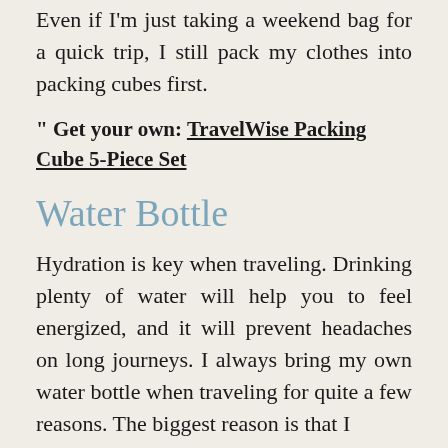Even if I'm just taking a weekend bag for a quick trip, I still pack my clothes into packing cubes first.
" Get your own: TravelWise Packing Cube 5-Piece Set
Water Bottle
Hydration is key when traveling. Drinking plenty of water will help you to feel energized, and it will prevent headaches on long journeys. I always bring my own water bottle when traveling for quite a few reasons. The biggest reason is that I